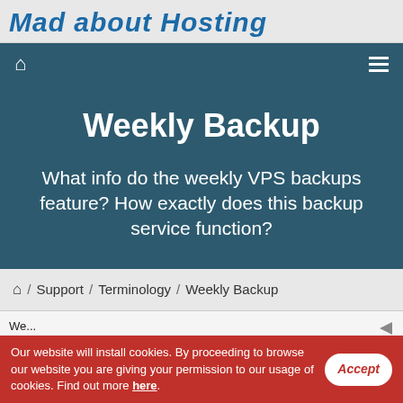Mad about Hosting
Weekly Backup
What info do the weekly VPS backups feature? How exactly does this backup service function?
/ Support / Terminology / Weekly Backup
We...
Our website will install cookies. By proceeding to browse our website you are giving your permission to our usage of cookies. Find out more here.